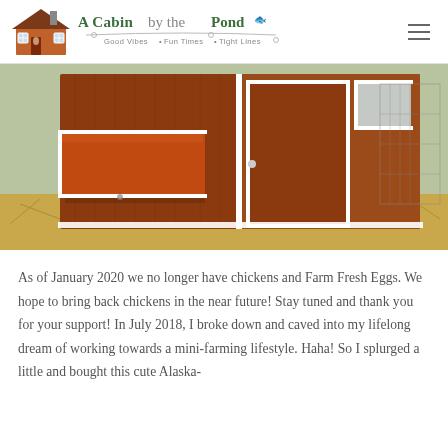A Cabin by the Pond — Good Vibes • Fun Times • Tight Lines
[Figure (photo): A wooden chicken coop with a brown cedar exterior and white trim, showing a hinged egg-collection box on the side and a white door. The coop sits on grass/hay ground outdoors.]
As of January 2020 we no longer have chickens and Farm Fresh Eggs. We hope to bring back chickens in the near future! Stay tuned and thank you for your support! In July 2018, I broke down and caved into my lifelong dream of working towards a mini-farming lifestyle. Haha! So I splurged a little and bought this cute Alaska-